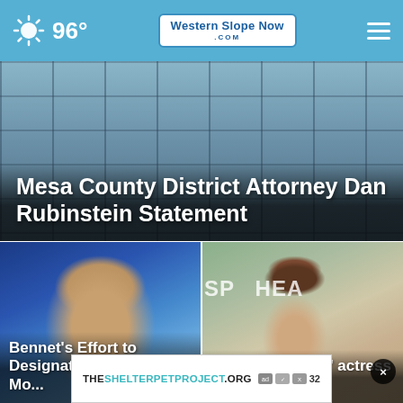96° | Western Slope Now .com
[Figure (photo): Building facade with glass windows, hero image background]
Mesa County District Attorney Dan Rubinstein Statement
[Figure (photo): Close-up photo of a man's face against blue background — Bennet article]
Bennet's Effort to Designate a National Mo...
[Figure (photo): Young woman with brunette hair in front of Spearhead signage — Black Lightning actress]
'Black Lightning' actress Cha...bi 32
[Figure (other): Advertisement banner: THESHELTERPETPROJECT.ORG with ad icons and close X button]